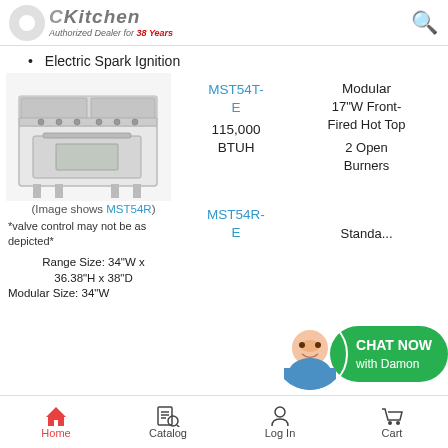CKitchen - Authorized Dealer for 38 Years
Electric Spark Ignition
[Figure (photo): Commercial range/stove with hot top and open burners, stainless steel, with oven base]
(Image shows MST54R)
*valve control may not be as depicted*
Range Size: 34"W x 36.38"H x 38"D
Modular Size: 34"W
MST54T-E
115,000 BTUH
Modular
17"W Front-Fired Hot Top
2 Open Burners
MST54R-E
Standa...
[Figure (photo): Chat Now with Damon - customer service representative avatar with green chat button]
Home | Catalog | Log In | Cart